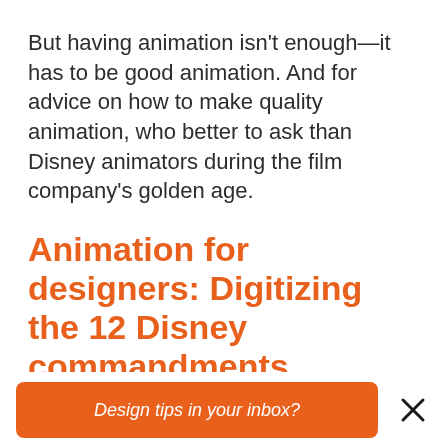But having animation isn't enough—it has to be good animation. And for advice on how to make quality animation, who better to ask than Disney animators during the film company's golden age.
Animation for designers: Digitizing the 12 Disney commandments
In 1981, two top Disney animators Frank
Design tips in your inbox?